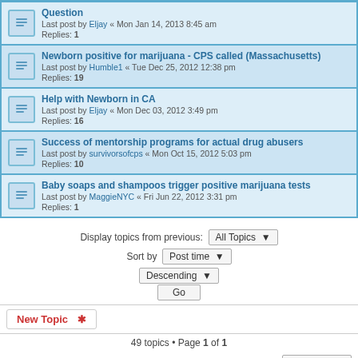Question
Last post by Eljay « Mon Jan 14, 2013 8:45 am
Replies: 1
Newborn positive for marijuana - CPS called (Massachusetts)
Last post by Humble1 « Tue Dec 25, 2012 12:38 pm
Replies: 19
Help with Newborn in CA
Last post by Eljay « Mon Dec 03, 2012 3:49 pm
Replies: 16
Success of mentorship programs for actual drug abusers
Last post by survivorsofcps « Mon Oct 15, 2012 5:03 pm
Replies: 10
Baby soaps and shampoos trigger positive marijuana tests
Last post by MaggieNYC « Fri Jun 22, 2012 3:31 pm
Replies: 1
Display topics from previous: All Topics ▾
Sort by Post time ▾
Descending ▾
Go
New Topic ✱
49 topics • Page 1 of 1
Jump to  ▾
WHO IS ONLINE
Users browsing this forum: No registered users and 1 guest